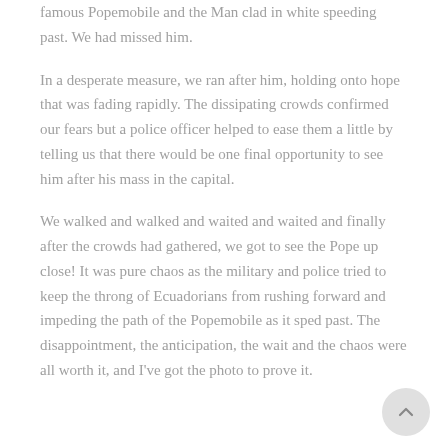famous Popemobile and the Man clad in white speeding past. We had missed him.
In a desperate measure, we ran after him, holding onto hope that was fading rapidly. The dissipating crowds confirmed our fears but a police officer helped to ease them a little by telling us that there would be one final opportunity to see him after his mass in the capital.
We walked and walked and waited and waited and finally after the crowds had gathered, we got to see the Pope up close! It was pure chaos as the military and police tried to keep the throng of Ecuadorians from rushing forward and impeding the path of the Popemobile as it sped past. The disappointment, the anticipation, the wait and the chaos were all worth it, and I've got the photo to prove it.